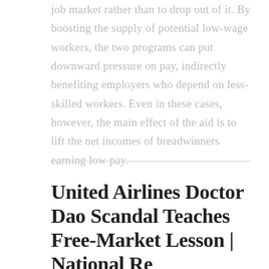job market rather than to drop out of it. By boosting the supply of potential low-wage workers, the two programs can put downward pressure on pay, indirectly benefiting employers who depend on less-skilled workers. Even in these cases, however, the main effect of the aid is to lift the net incomes of breadwinners earning low pay.
United Airlines Doctor Dao Scandal Teaches Free-Market Lesson | National Review